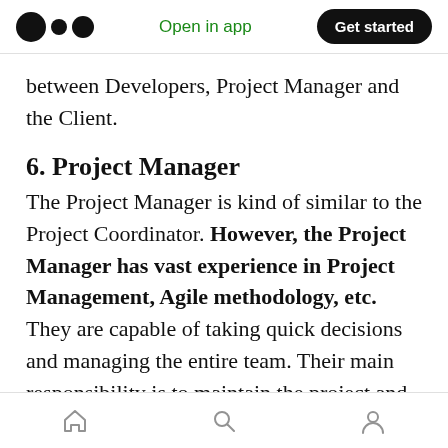Open in app | Get started
between Developers, Project Manager and the Client.
6. Project Manager
The Project Manager is kind of similar to the Project Coordinator. However, the Project Manager has vast experience in Project Management, Agile methodology, etc. They are capable of taking quick decisions and managing the entire team. Their main responsibility is to maintain the project and give perfect output to the client. They are usually
home | search | profile